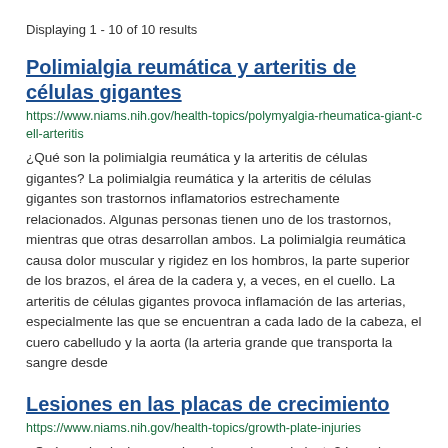Displaying 1 - 10 of 10 results
Polimialgia reumática y arteritis de células gigantes
https://www.niams.nih.gov/health-topics/polymyalgia-rheumatica-giant-cell-arteritis
¿Qué son la polimialgia reumática y la arteritis de células gigantes? La polimialgia reumática y la arteritis de células gigantes son trastornos inflamatorios estrechamente relacionados. Algunas personas tienen uno de los trastornos, mientras que otras desarrollan ambos. La polimialgia reumática causa dolor muscular y rigidez en los hombros, la parte superior de los brazos, el área de la cadera y, a veces, en el cuello. La arteritis de células gigantes provoca inflamación de las arterias, especialmente las que se encuentran a cada lado de la cabeza, el cuero cabelludo y la aorta (la arteria grande que transporta la sangre desde
Lesiones en las placas de crecimiento
https://www.niams.nih.gov/health-topics/growth-plate-injuries
¿Qué son las lesiones en las placas de crecimiento? Las placas de crecimiento son las áreas de tejidos cerca de los extremos de los huesos largos en los niños y los adolescentes que determinan qué